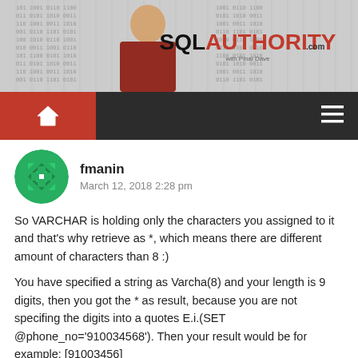[Figure (logo): SQL Authority website banner with person in red shirt and SQL AUTHORITY logo]
[Figure (screenshot): Dark navigation bar with red home button icon and hamburger menu icon]
fmanin
March 12, 2018 2:28 pm
So VARCHAR is holding only the characters you assigned to it and that's why retrieve as *, which means there are different amount of characters than 8 :)
You have specified a string as Varcha(8) and your length is 9 digits, then you got the * as result, because you are not specifing the digits into a quotes E.i.(SET @phone_no='910034568'). Then your result would be for example: [91003456]
However if you specify the correct length as Varchar(9) and your Set is like SET @phone_no=910034568 then you get the correct result.
Reply